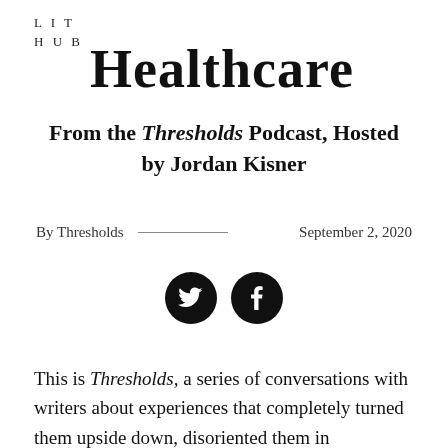LIT
HUB
Healthcare
From the Thresholds Podcast, Hosted by Jordan Kisner
By Thresholds — September 2, 2020
[Figure (other): Social media share buttons: Twitter and Facebook icons as white icons on black circles]
This is Thresholds, a series of conversations with writers about experiences that completely turned them upside down, disoriented them in